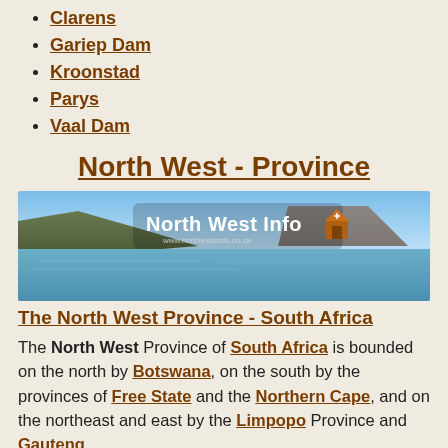Clarens
Gariep Dam
Kroonstad
Parys
Vaal Dam
North West - Province
[Figure (photo): North West Info banner with landscape photo showing a lake and mountains under blue sky, with 'North West Info' logo overlay]
The North West Province - South Africa
The North West Province of South Africa is bounded on the north by Botswana, on the south by the provinces of Free State and the Northern Cape, and on the northeast and east by the Limpopo Province and Gauteng.
Major towns included in the North West are as follows:
Brits
Hartbeespoort Dam
Klerksdorp
Mafikeng